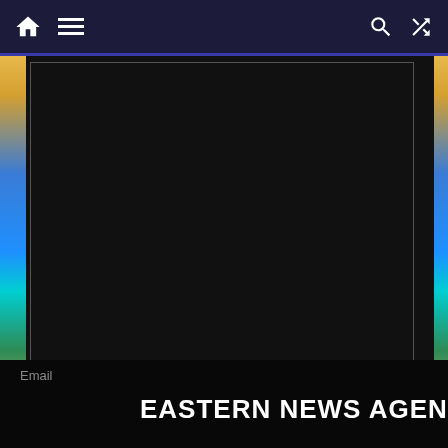Navigation bar with home, menu, search, and shuffle icons
[Figure (screenshot): Large dark textarea form field with resize handle in bottom-right corner]
Name *
[Figure (screenshot): Name input text field, dark background with gray border]
Email   EASTERN NEWS AGENCY